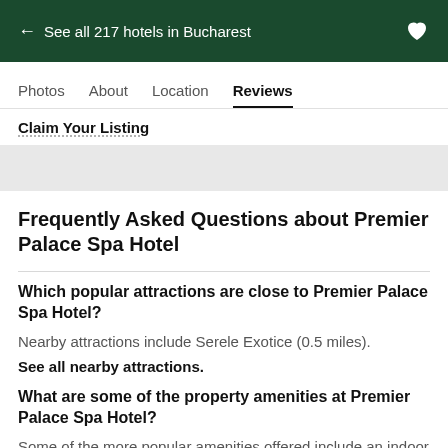← See all 217 hotels in Bucharest
Reviews
Claim Your Listing
Frequently Asked Questions about Premier Palace Spa Hotel
Which popular attractions are close to Premier Palace Spa Hotel?
Nearby attractions include Serele Exotice (0.5 miles).
See all nearby attractions.
What are some of the property amenities at Premier Palace Spa Hotel?
Some of the more popular amenities offered include an indoor pool, free wifi, and an on-site restaurant.